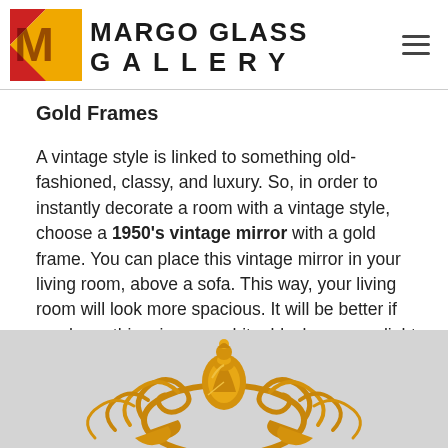Margo Glass Gallery
Gold Frames
A vintage style is linked to something old-fashioned, classy, and luxury. So, in order to instantly decorate a room with a vintage style, choose a 1950's vintage mirror with a gold frame. You can place this vintage mirror in your living room, above a sofa. This way, your living room will look more spacious. It will be better if you hang this mirror on white, black, grey, or light brown walls. This decoration idea will bring an elegance to your living room.
[Figure (photo): Photo of an ornate gold-framed mirror with elaborate baroque scrollwork and crown detail at top, displayed against a light grey background]